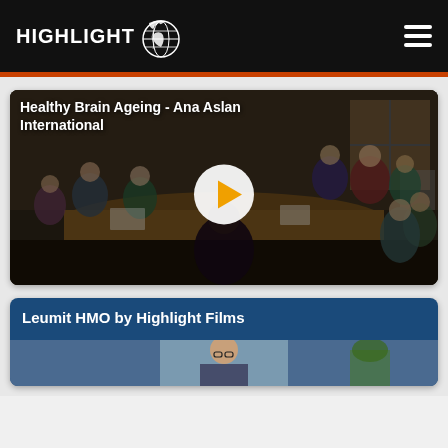HIGHLIGHT
[Figure (screenshot): Video thumbnail showing people seated around a conference table in a meeting room, with overlay play button]
Healthy Brain Ageing - Ana Aslan International
[Figure (screenshot): Video card for Leumit HMO by Highlight Films showing partial thumbnail of a person]